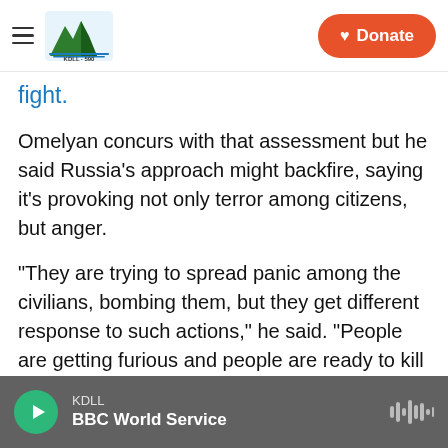KDLL | BBC World Service | Donate
fight.
Omelyan concurs with that assessment but he said Russia's approach might backfire, saying it's provoking not only terror among citizens, but anger.
"They are trying to spread panic among the civilians, bombing them, but they get different response to such actions," he said. "People are getting furious and people are ready to kill Russians. Even civilians which never took any kind of gun in their hands."
KDLL BBC World Service